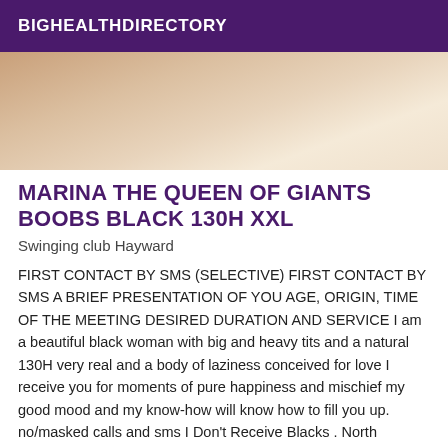BIGHEALTHDIRECTORY
[Figure (photo): Partial photo of a person, close-up, skin tones visible]
MARINA THE QUEEN OF GIANTS BOOBS BLACK 130H XXL
Swinging club Hayward
FIRST CONTACT BY SMS (SELECTIVE) FIRST CONTACT BY SMS A BRIEF PRESENTATION OF YOU AGE, ORIGIN, TIME OF THE MEETING DESIRED DURATION AND SERVICE I am a beautiful black woman with big and heavy tits and a natural 130H very real and a body of laziness conceived for love I receive you for moments of pure happiness and mischief my good mood and my know-how will know how to fill you up. no/masked calls and sms I Don't Receive Blacks . North Africans and young people under 30 years old need not insist. When you call, please be courteous or I will end the conversation. Non-negotiable rates